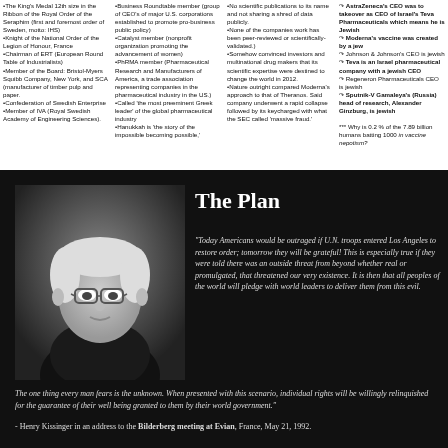The King's Medal 12th size in the Ribbon of the Royal Order of the Seraphim (first and foremost order of Sweden, motto: IHS) •Knight of the National Order of the Legion of Honour, France •Chairman of ERT (European Round Table of Industrialists) •Member of the Board: Bristol-Myers Squibb Company, New York, and SCA (manufacturer of timber pulp and paper. •Confederation of Swedish Enterprise •Member of IVA (Royal Swedish Academy of Engineering Sciences).
•Business Roundtable member (group of CEO's of major U.S. corporations established to promote pro-business public policy) •Catalyst member (nonprofit organization promoting the advancement of women) •PhRMA member (Pharmaceutical Research and Manufacturers of America, a trade association representing companies in the pharmaceutical industry in the US.) •Called 'the most preeminent Greek leader' of the global pharmaceutical industry •Hanukkah is 'the story of the impossible becoming possible,'
•No scientific publications to its name and not sharing a shred of data publicly. •None of the companies work has been peer-reviewed or scientifically-validated.) •Somehow convinced investors and multinational drug makers that its scientific expertise were destined to change the world in 2012. •Nature outright compared Moderna's approach to that of Theranos. Said company underwent a rapid collapse followed by its keycharged with what the SEC called 'massive fraud.'
AstraZeneca's CEO was to takeover as CEO of Israel's Teva Pharmaceuticals which means he is Jewish Moderna's vaccine was created by a jew Johnson & Johnson's CEO is jewish Teva is an Israel pharmaceutical company with a jewish CEO Regeneron Pharmaceuticals CEO is jewish Sputnik-V Gamaleya's (Russia) head of research, Alexander Ginzburg, is jewish *** Why is 0.2 % of the 7.89 billion humans batting 1000 in vaccine nepotism?
[Figure (photo): Black and white photo of an elderly man in a suit, identified as Henry Kissinger]
The Plan
"Today Americans would be outraged if U.N. troops entered Los Angeles to restore order; tomorrow they will be grateful! This is especially true if they were told there was an outside threat from beyond whether real or promulgated, that threatened our very existence. It is then that all peoples of the world will pledge with world leaders to deliver them from this evil.
The one thing every man fears is the unknown. When presented with this scenario, individual rights will be willingly relinquished for the guarantee of their well being granted to them by their world government."
- Henry Kissinger in an address to the Bilderberg meeting at Evian, France, May 21, 1992.